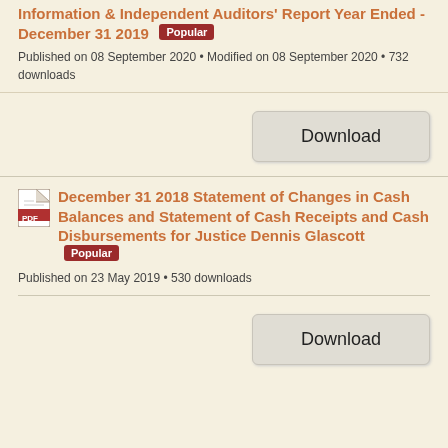Information & Independent Auditors' Report Year Ended - December 31 2019 Popular
Published on 08 September 2020 • Modified on 08 September 2020 • 732 downloads
[Figure (other): Download button]
December 31 2018 Statement of Changes in Cash Balances and Statement of Cash Receipts and Cash Disbursements for Justice Dennis Glascott Popular
Published on 23 May 2019 • 530 downloads
[Figure (other): Download button]